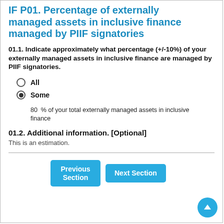IF P01. Percentage of externally managed assets in inclusive finance managed by PIIF signatories
01.1. Indicate approximately what percentage (+/-10%) of your externally managed assets in inclusive finance are managed by PIIF signatories.
All
Some
80  % of your total externally managed assets in inclusive finance
01.2. Additional information. [Optional]
This is an estimation.